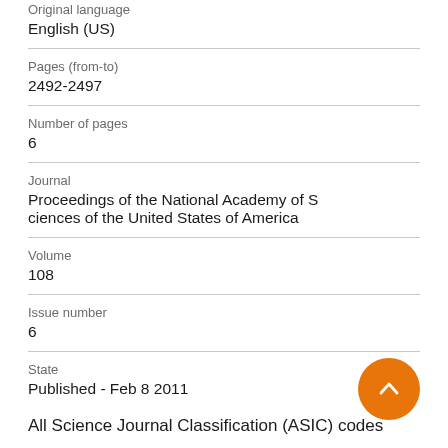Original language
English (US)
Pages (from-to)
2492-2497
Number of pages
6
Journal
Proceedings of the National Academy of Sciences of the United States of America
Volume
108
Issue number
6
State
Published - Feb 8 2011
All Science Journal Classification (ASIC) codes